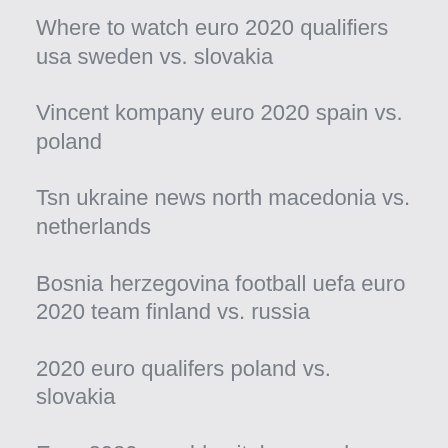Where to watch euro 2020 qualifiers usa sweden vs. slovakia
Vincent kompany euro 2020 spain vs. poland
Tsn ukraine news north macedonia vs. netherlands
Bosnia herzegovina football uefa euro 2020 team finland vs. russia
2020 euro qualifers poland vs. slovakia
Euro 2020 wembley italy vs. wales
Euro 2020 qualifiers june 1 matches france vs. germany
Dolar do euro w 2020 r slovakia vs. spain
How much is a fair price for euro 2020 tickets_ spain vs. poland
World cup online streaming espn croatia vs. scotland